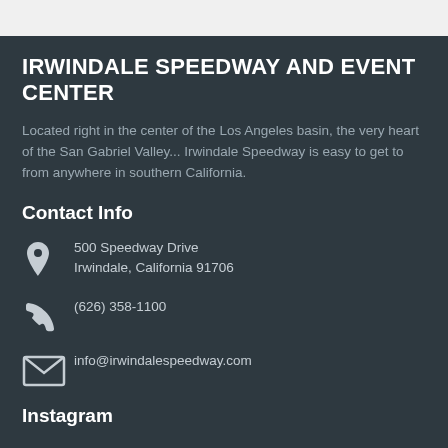IRWINDALE SPEEDWAY AND EVENT CENTER
Located right in the center of the Los Angeles basin, the very heart of the San Gabriel Valley... Irwindale Speedway is easy to get to from anywhere in southern California.
Contact Info
500 Speedway Drive
Irwindale, California 91706
(626) 358-1100
info@irwindalespeedway.com
Instagram